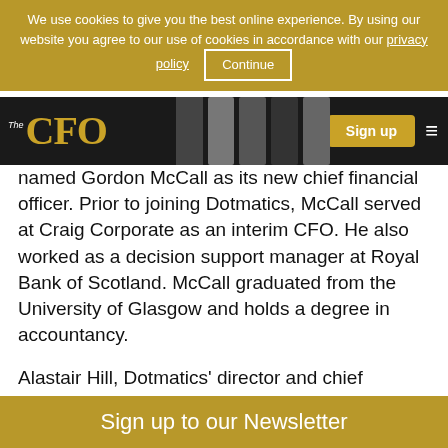We use cookies to give you the best online experience. By using our website you agree to our use of cookies in accordance with our privacy policy  Continue
[Figure (logo): The CFO logo in gold letters on dark background with navigation bar including Sign up button and hamburger menu]
named Gordon McCall as its new chief financial officer. Prior to joining Dotmatics, McCall served at Craig Corporate as an interim CFO. He also worked as a decision support manager at Royal Bank of Scotland. McCall graduated from the University of Glasgow and holds a degree in accountancy.
Alastair Hill, Dotmatics' director and chief technical officer, commented on McCall's
Sign up to our Newsletter